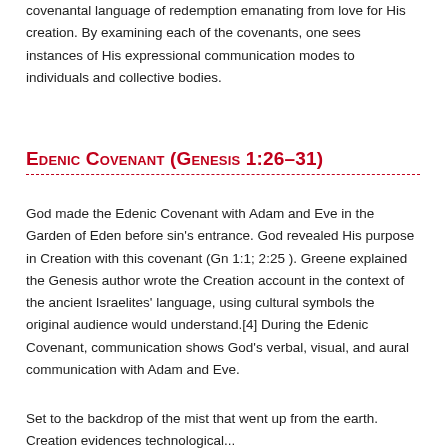covenantal language of redemption emanating from love for His creation. By examining each of the covenants, one sees instances of His expressional communication modes to individuals and collective bodies.
Edenic Covenant (Genesis 1:26–31)
God made the Edenic Covenant with Adam and Eve in the Garden of Eden before sin's entrance. God revealed His purpose in Creation with this covenant (Gn 1:1; 2:25 ). Greene explained the Genesis author wrote the Creation account in the context of the ancient Israelites' language, using cultural symbols the original audience would understand.[4] During the Edenic Covenant, communication shows God's verbal, visual, and aural communication with Adam and Eve.
Set to the backdrop of the mist that went up from the earth. Creation evidences technological...